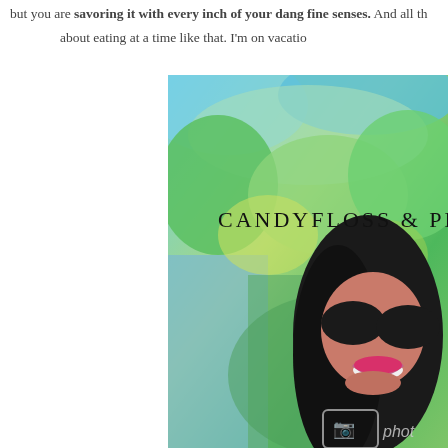but you are savoring it with every inch of your dang fine senses. And all th... about eating at a time like that. I'm on vacatio...
[Figure (photo): A woman with dark hair and large dark sunglasses smiling, standing in front of a colorful painted wall with blues and greens. Text overlay reads 'CANDYFLOSS & PE...' in a hand-lettered style.]